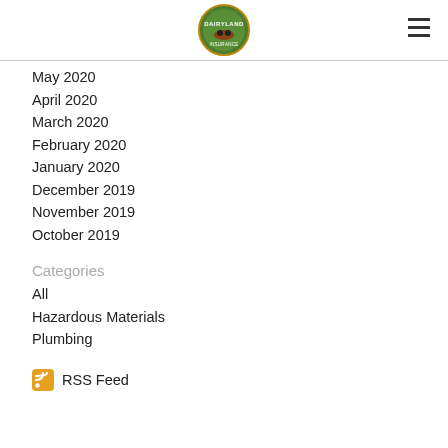Dairyland logo and navigation
May 2020
April 2020
March 2020
February 2020
January 2020
December 2019
November 2019
October 2019
Categories
All
Hazardous Materials
Plumbing
RSS Feed